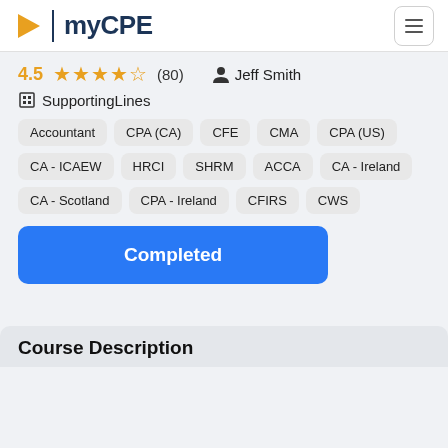myCPE
4.5 (80)  Jeff Smith
SupportingLines
Accountant
CPA (CA)
CFE
CMA
CPA (US)
CA - ICAEW
HRCI
SHRM
ACCA
CA - Ireland
CA - Scotland
CPA - Ireland
CFIRS
CWS
Completed
Course Description